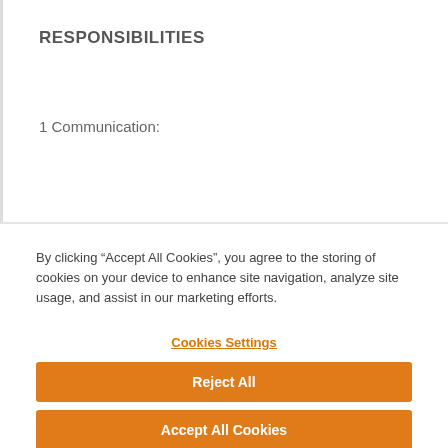RESPONSIBILITIES
1 Communication:
By clicking “Accept All Cookies”, you agree to the storing of cookies on your device to enhance site navigation, analyze site usage, and assist in our marketing efforts.
Cookies Settings
Reject All
Accept All Cookies